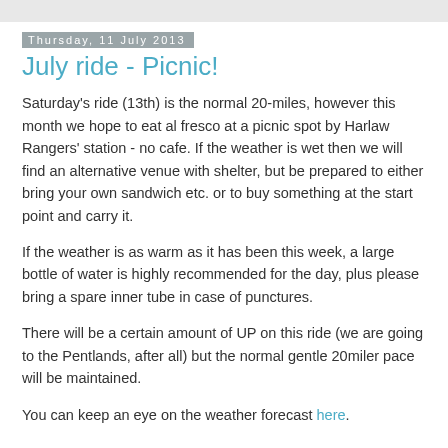Thursday, 11 July 2013
July ride - Picnic!
Saturday's ride (13th) is the normal 20-miles, however this month we hope to eat al fresco at a picnic spot by Harlaw Rangers' station - no cafe. If the weather is wet then we will find an alternative venue with shelter, but be prepared to either bring your own sandwich etc. or to buy something at the start point and carry it.
If the weather is as warm as it has been this week, a large bottle of water is highly recommended for the day, plus please bring a spare inner tube in case of punctures.
There will be a certain amount of UP on this ride (we are going to the Pentlands, after all) but the normal gentle 20miler pace will be maintained.
You can keep an eye on the weather forecast here.